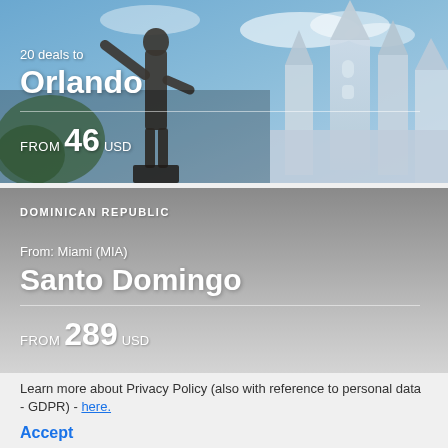[Figure (photo): Orlando travel deal card with statue of Walt Disney and Cinderella Castle in background, showing '20 deals to Orlando FROM 46 USD']
[Figure (photo): Dominican Republic travel deal card with gray gradient background, showing 'DOMINICAN REPUBLIC, From: Miami (MIA), Santo Domingo, FROM 289 USD']
Learn more about Privacy Policy (also with reference to personal data - GDPR) - here.
Accept